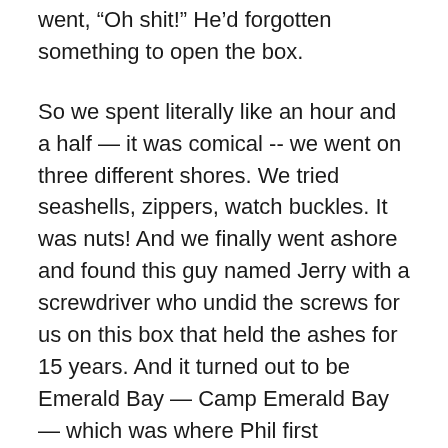went, “Oh shit!” He’d forgotten something to open the box.
So we spent literally like an hour and a half — it was comical -- we went on three different shores. We tried seashells, zippers, watch buckles. It was nuts! And we finally went ashore and found this guy named Jerry with a screwdriver who undid the screws for us on this box that held the ashes for 15 years. And it turned out to be Emerald Bay — Camp Emerald Bay — which was where Phil first encountered Catalina as a boy. So we pushed off, realized that the box was still sealed shut. It was like the Ark of the Covenant or something. We eventually got it open by banging it on a buoy and were able to scatter Phil around Indian Rock. Britt and I both thought it may have been Phil messing with us